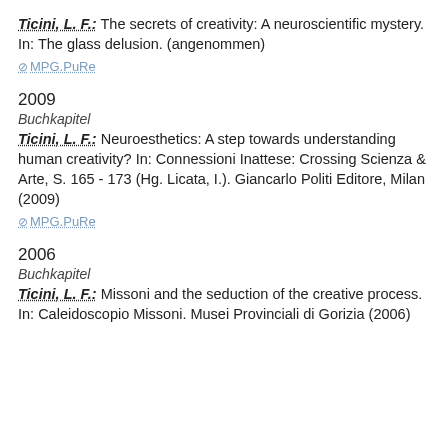Ticini, L. F.: The secrets of creativity: A neuroscientific mystery. In: The glass delusion. (angenommen)
⊘ MPG.PuRe
2009
Buchkapitel
Ticini, L. F.: Neuroesthetics: A step towards understanding human creativity? In: Connessioni Inattese: Crossing Scienza & Arte, S. 165 - 173 (Hg. Licata, I.). Giancarlo Politi Editore, Milan (2009)
⊘ MPG.PuRe
2006
Buchkapitel
Ticini, L. F.: Missoni and the seduction of the creative process. In: Caleidoscopio Missoni. Musei Provinciali di Gorizia (2006)